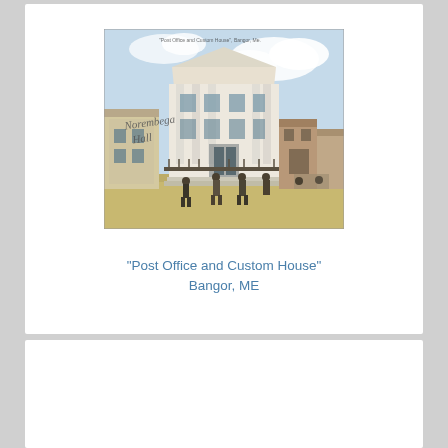[Figure (photo): Vintage colorized postcard photograph of 'Post Office and Custom House' in Bangor, ME. Shows a large neoclassical building with columns and a triangular pediment, people walking on the street in front, other buildings visible to the sides, handwritten text overlay reading 'Norembega Hall'.]
"Post Office and Custom House"
Bangor, ME